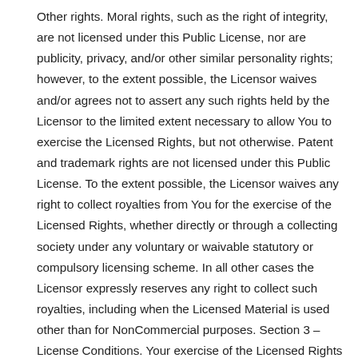Other rights. Moral rights, such as the right of integrity, are not licensed under this Public License, nor are publicity, privacy, and/or other similar personality rights; however, to the extent possible, the Licensor waives and/or agrees not to assert any such rights held by the Licensor to the limited extent necessary to allow You to exercise the Licensed Rights, but not otherwise. Patent and trademark rights are not licensed under this Public License. To the extent possible, the Licensor waives any right to collect royalties from You for the exercise of the Licensed Rights, whether directly or through a collecting society under any voluntary or waivable statutory or compulsory licensing scheme. In all other cases the Licensor expressly reserves any right to collect such royalties, including when the Licensed Material is used other than for NonCommercial purposes. Section 3 – License Conditions. Your exercise of the Licensed Rights is expressly made subject to the following conditions. Attribution. If You Share the Licensed Material, You must: retain the following if it is supplied by the Licensor with the Licensed Material: identification of the creator(s) of the Licensed Material and any others designated to receive attribution,